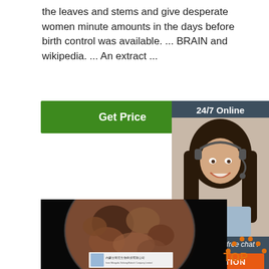the leaves and stems and give desperate women minute amounts in the days before birth control was available. ... BRAIN and wikipedia. ... An extract ...
Get Price
24/7 Online
[Figure (photo): Customer service representative wearing headset, smiling]
Click here for free chat !
QUOTATION
[Figure (photo): Brown herbal powder in a petri dish on black background, with a label showing Inner Mongolia Xieliong Biotech Company Limited]
[Figure (logo): TOP badge icon in orange]